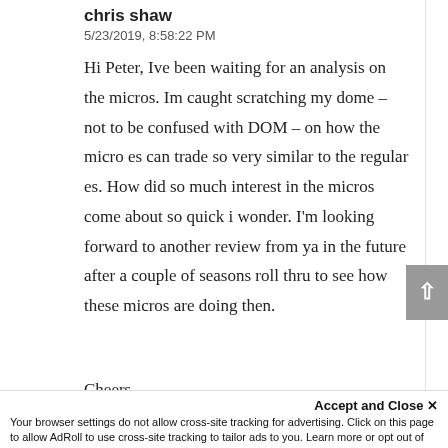chris shaw
5/23/2019, 8:58:22 PM
Hi Peter, Ive been waiting for an analysis on the micros. Im caught scratching my dome – not to be confused with DOM – on how the micro es can trade so very similar to the regular es. How did so much interest in the micros come about so quick i wonder. I'm looking forward to another review from ya in the future after a couple of seasons roll thru to see how these micros are doing then. Cheers
Accept and Close ×
Your browser settings do not allow cross-site tracking for advertising. Click on this page to allow AdRoll to use cross-site tracking to tailor ads to you. Learn more or opt out of this AdRoll tracking by clicking here. This message only appears once.